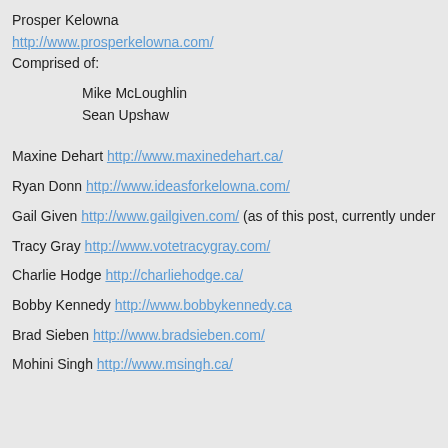Prosper Kelowna
http://www.prosperkelowna.com/
Comprised of:
Mike McLoughlin
Sean Upshaw
Maxine Dehart http://www.maxinedehart.ca/
Ryan Donn http://www.ideasforkelowna.com/
Gail Given http://www.gailgiven.com/ (as of this post, currently under constru...
Tracy Gray http://www.votetracygray.com/
Charlie Hodge http://charliehodge.ca/
Bobby Kennedy http://www.bobbykennedy.ca
Brad Sieben http://www.bradsieben.com/
Mohini Singh http://www.msingh.ca/